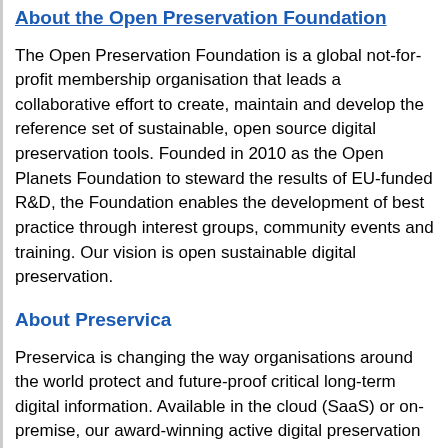About the Open Preservation Foundation
The Open Preservation Foundation is a global not-for-profit membership organisation that leads a collaborative effort to create, maintain and develop the reference set of sustainable, open source digital preservation tools. Founded in 2010 as the Open Planets Foundation to steward the results of EU-funded R&D, the Foundation enables the development of best practice through interest groups, community events and training. Our vision is open sustainable digital preservation.
About Preservica
Preservica is changing the way organisations around the world protect and future-proof critical long-term digital information. Available in the cloud (SaaS) or on-premise, our award-winning active digital preservation software has been designed from the ground-up to tackle the unique challenges of ensuring digital information remains accessible and trustworthy over decades.
In a new initiative supported by Jisc, Preserv... Arkivum, the Open Preservation Foundation... Artefactual will work together to deliver a pro...